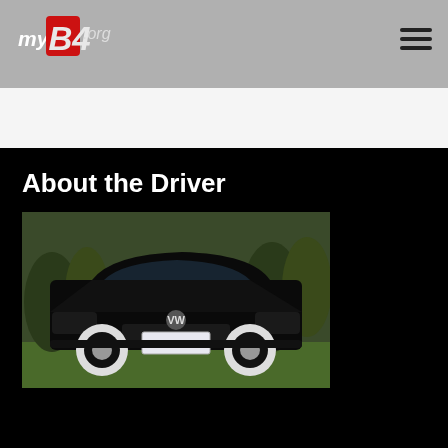myB4.org
About the Driver
[Figure (photo): Black Volkswagen Jetta/Vento sedan parked on grass, front three-quarter view, with white BBS-style multi-spoke wheels and license plate 037-NIH]